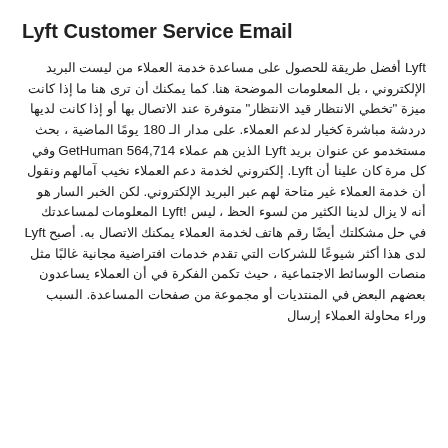Lyft Customer Service Email
Lyft أفضل طريقة للحصول على مساعدة خدمة العملاء من ليست البريد الإلكتروني ، بل المعلومات الموضحة هنا. كما يمكنك أن ترى هنا ما إذا كانت ميزة "تخطي الانتظار قيد الانتظار" متوفرة عند الاتصال بها أو إذا كانت لديها دردشة مباشرة كخيار لدعم العملاء. على مدار الـ 180 يومًا الماضية ، بحث مستخدمو GetHuman 564,714 عن عنوان بريد Lyft الذين هم عملاء وفي كل مرة كان علينا أن Lyft إلكتروني لخدمة دعم العملاء نخيب آمالهم ونقول أن خدمة العملاء غير متاحة لهم عبر البريد الإلكتروني. لكن الخبر السار هو أنه لا يزال لدينا الكثير من لسوء الحظ ، ليس Lyft! المعلومات لمساعدتك في حل مشكلتك أيضًا رقم هاتف لخدمة العملاء يمكنك الاتصال به. أصبح Lyft لدى هذا أكثر شيوعًا للشركات التي تقدم خدمات افتراضية مجانية غالبًا مثل منصات الوسائط الاجتماعية ، حيث تكمن الفكرة في أن العملاء يساعدون بعضهم البعض في المنتديات أو مجموعة من صفحات المساعدة. السبب وراء محاولة العملاء إرسال